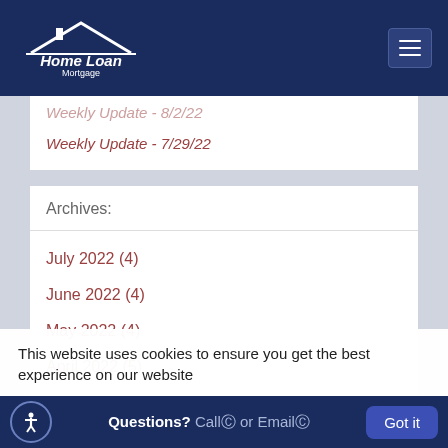Home Loan Mortgage
Weekly Update - 8/2/22 (partially visible, faded)
Weekly Update - 7/29/22
Archives:
July 2022 (4)
June 2022 (4)
May 2022 (4)
April 2022 (5)
March 2022 (4)
February 2022 (4) (partially visible, faded)
This website uses cookies to ensure you get the best experience on our website
Questions? Call or Email